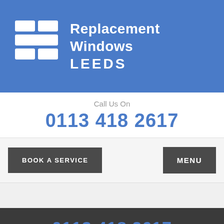[Figure (logo): Replacement Windows Leeds logo with grid window icon in white on blue background, company name in white bold text]
Call Us On
0113 418 2617
BOOK A SERVICE
MENU
0113 418 2617
Click on the Button to Contact Us
CONTACT FORM